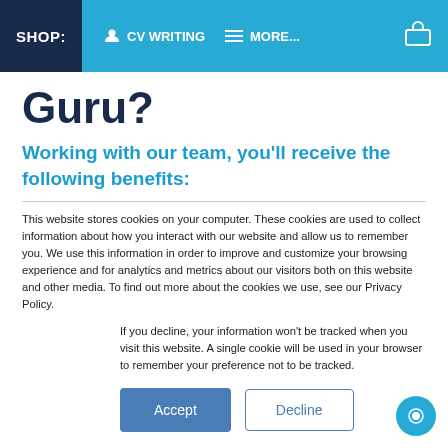SHOP: | CV WRITING | MORE... | [basket]
Guru?
Working with our team, you'll receive the following benefits:
This website stores cookies on your computer. These cookies are used to collect information about how you interact with our website and allow us to remember you. We use this information in order to improve and customize your browsing experience and for analytics and metrics about our visitors both on this website and other media. To find out more about the cookies we use, see our Privacy Policy.
If you decline, your information won't be tracked when you visit this website. A single cookie will be used in your browser to remember your preference not to be tracked.